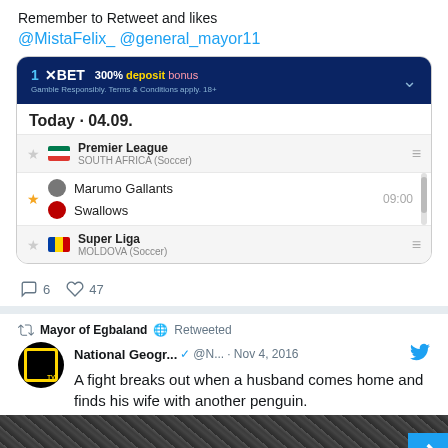Remember to Retweet and likes
@MistaFelix_ @general_mayor11
[Figure (screenshot): 1xBET app screenshot showing Premier League (South Africa Soccer) with Marumo Gallants vs Swallows at 09:00, and Super Liga (Moldova Soccer). Date shown: Today - 04.09.]
6 comments, 47 likes
Mayor of Egbaland Retweeted
National Geogr... @N... · Nov 4, 2016 — A fight breaks out when a husband comes home and finds his wife with another penguin.
[Figure (photo): Dark image of penguins, partially visible at the bottom of the page]